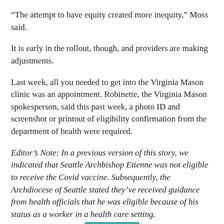“The attempt to have equity created more inequity,” Moss said.
It is early in the rollout, though, and providers are making adjustments.
Last week, all you needed to get into the Virginia Mason clinic was an appointment. Robinette, the Virginia Mason spokesperson, said this past week, a photo ID and screenshot or printout of eligibility confirmation from the department of health were required.
Editor’s Note: In a previous version of this story, we indicated that Seattle Archbishop Etienne was not eligible to receive the Covid vaccine. Subsequently, the Archdiocese of Seattle stated they’ve received guidance from health officials that he was eligible because of his status as a worker in a health care setting.
Feedback